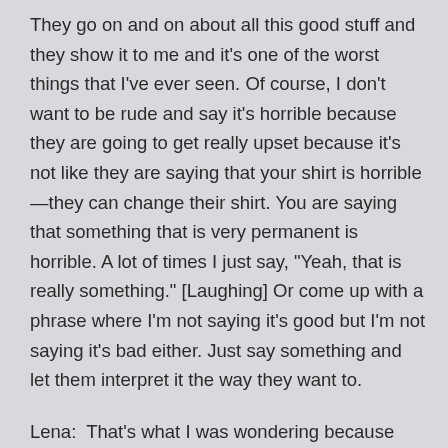They go on and on about all this good stuff and they show it to me and it's one of the worst things that I've ever seen. Of course, I don't want to be rude and say it's horrible because they are going to get really upset because it's not like they are saying that your shirt is horrible—they can change their shirt. You are saying that something that is very permanent is horrible. A lot of times I just say, "Yeah, that is really something." [Laughing] Or come up with a phrase where I'm not saying it's good but I'm not saying it's bad either. Just say something and let them interpret it the way they want to.
Lena:  That's what I was wondering because how could you respond to that without dying too much inside? [Laughing]